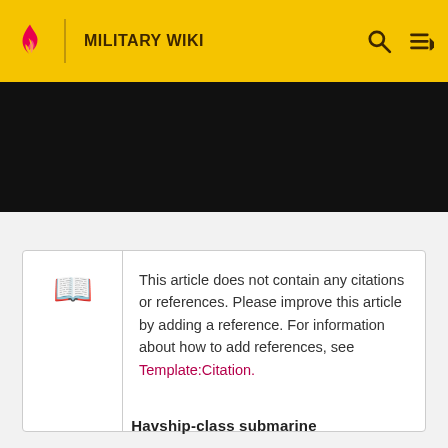MILITARY WIKI
[Figure (screenshot): Black banner image area below the header]
This article does not contain any citations or references. Please improve this article by adding a reference. For information about how to add references, see Template:Citation.
Havship-class submarine